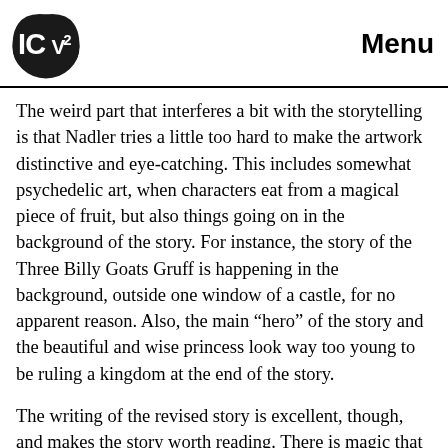ICV2  Menu
The weird part that interferes a bit with the storytelling is that Nadler tries a little too hard to make the artwork distinctive and eye-catching. This includes somewhat psychedelic art, when characters eat from a magical piece of fruit, but also things going on in the background of the story. For instance, the story of the Three Billy Goats Gruff is happening in the background, outside one window of a castle, for no apparent reason. Also, the main “hero” of the story and the beautiful and wise princess look way too young to be ruling a kingdom at the end of the story.
The writing of the revised story is excellent, though, and makes the story worth reading. There is magic that allows characters to understand animals, and